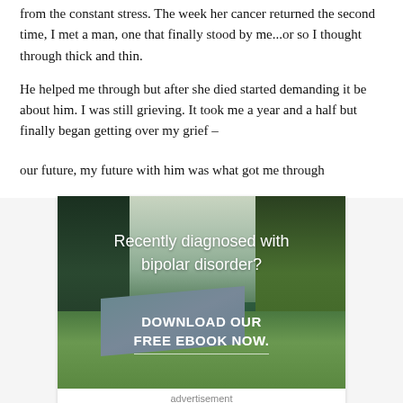from the constant stress. The week her cancer returned the second time, I met a man, one that finally stood by me...or so I thought through thick and thin.
He helped me through but after she died started demanding it be about him. I was still grieving. It took me a year and a half but finally began getting over my grief – our future, my future with him was what got me through
[Figure (photo): Advertisement image showing a forest landscape with a stream and meadow. Text overlay reads 'Recently diagnosed with bipolar disorder? DOWNLOAD OUR FREE EBOOK NOW.' with a decorative underline.]
advertisement